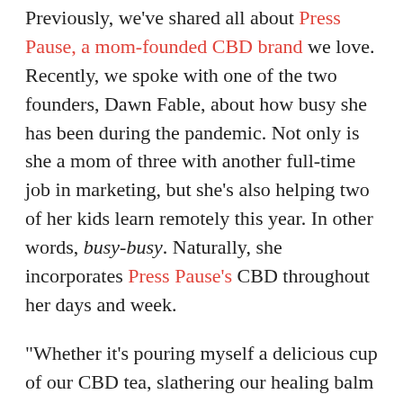Previously, we've shared all about Press Pause, a mom-founded CBD brand we love. Recently, we spoke with one of the two founders, Dawn Fable, about how busy she has been during the pandemic. Not only is she a mom of three with another full-time job in marketing, but she's also helping two of her kids learn remotely this year. In other words, busy-busy. Naturally, she incorporates Press Pause's CBD throughout her days and week.
“Whether it’s pouring myself a delicious cup of our CBD tea, slathering our healing balm on my shoulders after a tough yoga class or soaking into a bath with our CBD bath bomb at the end of a long day, it all makes such a huge difference,” says Dawn, who had struggled previously with...